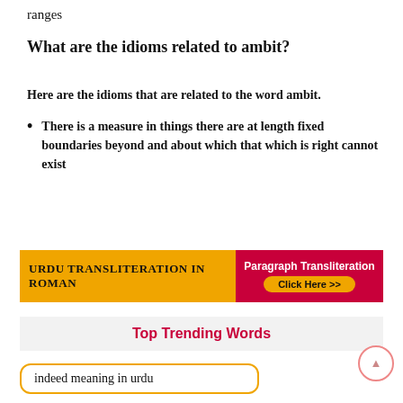ranges
What are the idioms related to ambit?
Here are the idioms that are related to the word ambit.
There is a measure in things there are at length fixed boundaries beyond and about which that which is right cannot exist
[Figure (infographic): Orange and red banner advertising Urdu Transliteration in Roman with a Paragraph Transliteration Click Here button]
Top Trending Words
indeed meaning in urdu